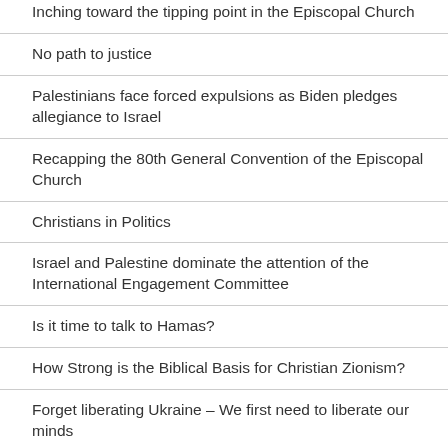Inching toward the tipping point in the Episcopal Church
No path to justice
Palestinians face forced expulsions as Biden pledges allegiance to Israel
Recapping the 80th General Convention of the Episcopal Church
Christians in Politics
Israel and Palestine dominate the attention of the International Engagement Committee
Is it time to talk to Hamas?
How Strong is the Biblical Basis for Christian Zionism?
Forget liberating Ukraine – We first need to liberate our minds